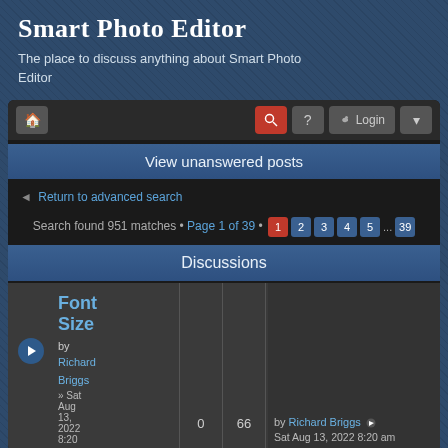Smart Photo Editor
The place to discuss anything about Smart Photo Editor
[Figure (screenshot): Forum navigation bar with home icon, red search icon, question mark, login button, and dropdown arrow]
View unanswered posts
Return to advanced search
Search found 951 matches • Page 1 of 39 • 1 2 3 4 5 ... 39
Discussions
Font Size
by Richard Briggs
» Sat Aug 13, 2022 8:20
0
66
by Richard Briggs
Sat Aug 13, 2022 8:20 am